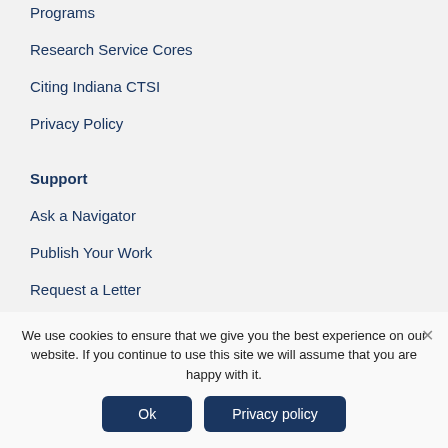Programs
Research Service Cores
Citing Indiana CTSI
Privacy Policy
Support
Ask a Navigator
Publish Your Work
Request a Letter
Communications Resources
Website Support
We use cookies to ensure that we give you the best experience on our website. If you continue to use this site we will assume that you are happy with it.
Ok
Privacy policy